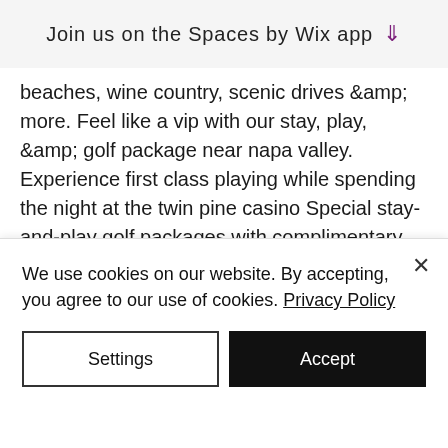Join us on the Spaces by Wix app
beaches, wine country, scenic drives &amp; more. Feel like a vip with our stay, play, &amp; golf package near napa valley. Experience first class playing while spending the night at the twin pine casino Special stay-and-play golf packages with complimentary shuttle services to and from the. (please note: be sure to check with respective resorts and courses for seasonal stay &amp; play rates. ) marriott's shadow ridge i - the villages. Palm springs golf packages: discount california golf packages, featuring the best resorts and golf courses in palm
We use cookies on our website. By accepting, you agree to our use of cookies. Privacy Policy
Settings
Accept